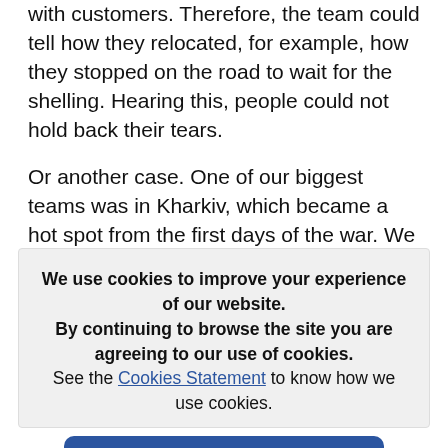projects, the iLogos team communicates very closely with customers. Therefore, the team could tell how they relocated, for example, how they stopped on the road to wait for the shelling. Hearing this, people could not hold back their tears.
Or another case. One of our biggest teams was in Kharkiv, which became a hot spot from the first days of the war. We could not evacuate some people for two weeks because they lived in areas where it was physically
We use cookies to improve your experience of our website.
By continuing to browse the site you are agreeing to our use of cookies.
See the Cookies Statement to know how we use cookies.
CONTINUE